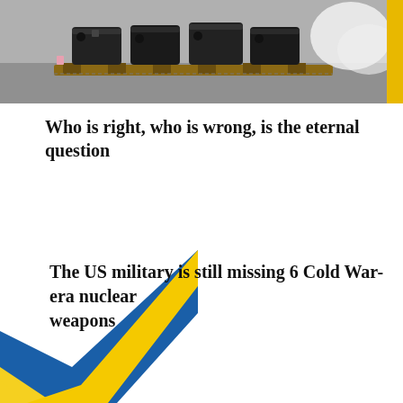[Figure (photo): Photo showing military equipment/weapons stacked on a pallet on a tarmac, with a yellow stripe visible on the right edge]
Who is right, who is wrong, is the eternal question
[Figure (illustration): Diagonal blue and yellow stripes (Ukrainian flag colors) decorating the bottom-left corner]
The US military is still missing 6 Cold War-era nuclear weapons